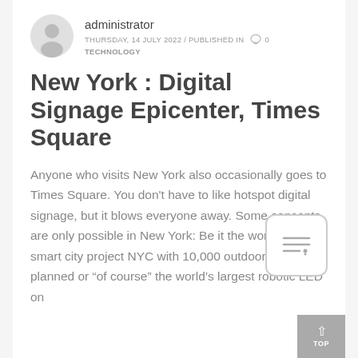administrator
THURSDAY, 14 JULY 2022 / PUBLISHED IN  0
TECHNOLOGY
New York : Digital Signage Epicenter, Times Square
Anyone who visits New York also occasionally goes to Times Square. You don't have to like hotspot digital signage, but it blows everyone away. Some concepts are only possible in New York: Be it the world's largest smart city project NYC with 10,000 outdoor totems planned or “of course” the world's largest robotic LED on